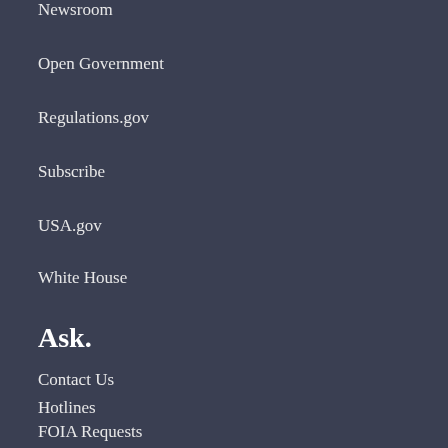Newsroom
Open Government
Regulations.gov
Subscribe
USA.gov
White House
Ask.
Contact Us
Hotlines
FOIA Requests
Frequent Questions